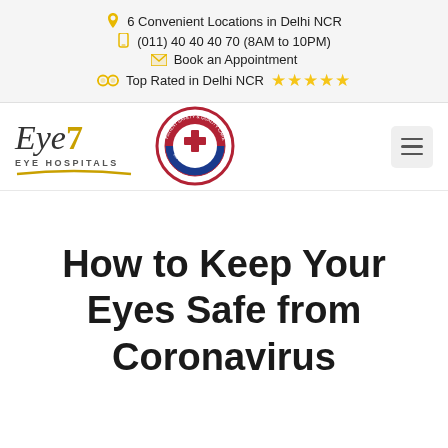6 Convenient Locations in Delhi NCR | (011) 40 40 40 70 (8AM to 10PM) | Book an Appointment | Top Rated in Delhi NCR ★★★★★
[Figure (logo): Eye7 Eye Hospitals logo with italic text 'Eye7' in dark grey and gold, underlined with gold curve, subtitle 'EYE HOSPITALS']
[Figure (logo): NABH (National Accreditation Board for Hospitals) circular badge with red and blue colors]
How to Keep Your Eyes Safe from Coronavirus